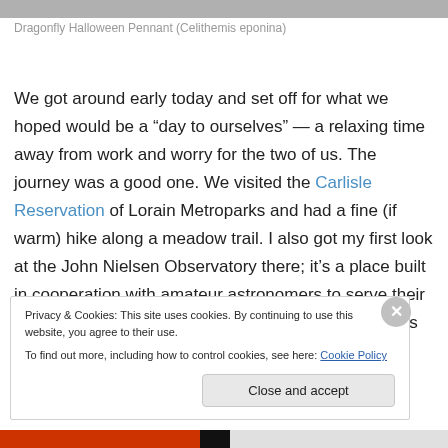Dragonfly Halloween Pennant (Celithemis eponina)
We got around early today and set off for what we hoped would be a “day to ourselves” — a relaxing time away from work and worry for the two of us. The journey was a good one. We visited the Carlisle Reservation of Lorain Metroparks and had a fine (if warm) hike along a meadow trail. I also got my first look at the John Nielsen Observatory there; it’s a place built in cooperation with amateur astronomers to serve their needs and those of Parks’ star party guests and looks to be in an excellent
Privacy & Cookies: This site uses cookies. By continuing to use this website, you agree to their use.
To find out more, including how to control cookies, see here: Cookie Policy